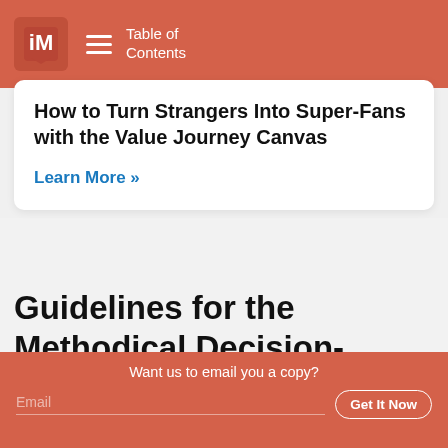Table of Contents
How to Turn Strangers Into Super-Fans with the Value Journey Canvas
Learn More »
Guidelines for the Methodical Decision-Maker
Want us to email you a copy?
Email  Get It Now